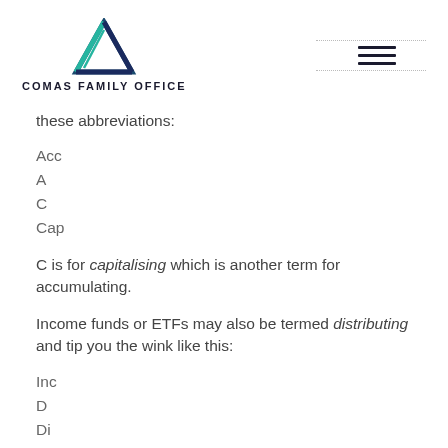[Figure (logo): Comas Family Office logo with teal and navy triangle icon above the text COMAS FAMILY OFFICE]
these abbreviations:
Acc
A
C
Cap
C is for capitalising which is another term for accumulating.
Income funds or ETFs may also be termed distributing and tip you the wink like this:
Inc
D
Di